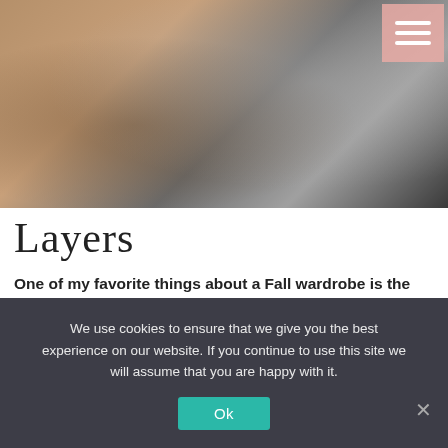[Figure (photo): Fashion lifestyle photo showing a person wearing brown/tan shorts and dark top, reclining with a grey faux fur blanket in the background]
Layers
One of my favorite things about a Fall wardrobe is the ability to add layers to outfits, which always adds interest. Scarves are a great way to do that. I recommend a solid color or subtle print. We wouldn’t want a bold pattern to distract from your face.
We use cookies to ensure that we give you the best experience on our website. If you continue to use this site we will assume that you are happy with it.